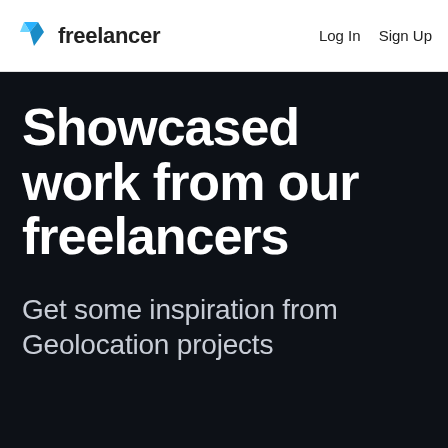freelancer  Log In  Sign Up
Showcased work from our freelancers
Get some inspiration from Geolocation projects